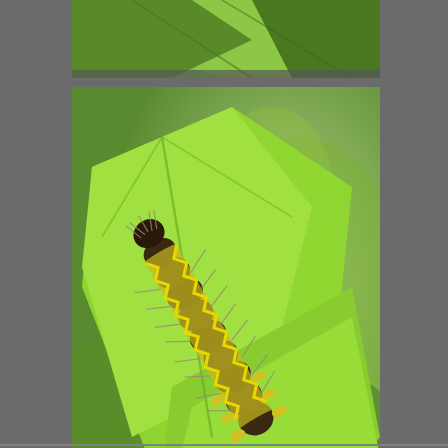[Figure (photo): Partial view of large green leaves against a light background, cropped top photo.]
[Figure (photo): A hairy caterpillar with yellow and dark brown markings climbing on bright green leaves, with blurred green foliage in the background.]
“There is nothing in a caterpillar that tells you it’s going to be a butterfly.”  ~R. Buckminster Fuller